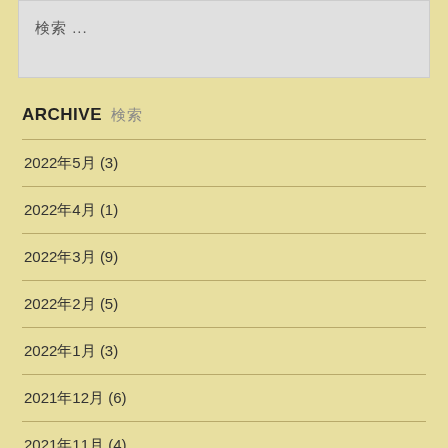検索...
ARCHIVE 検索
2022年5月 (3)
2022年4月 (1)
2022年3月 (9)
2022年2月 (5)
2022年1月 (3)
2021年12月 (6)
2021年11月 (4)